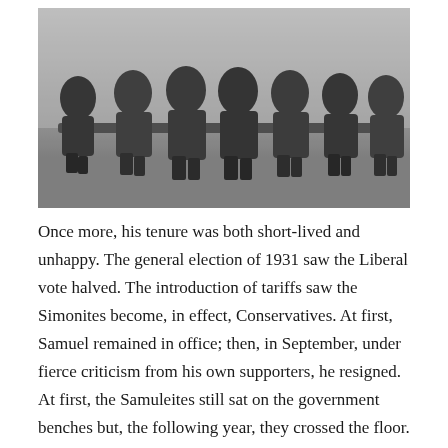[Figure (photo): Black and white photograph of a group of men in suits seated on a bench outdoors, likely a formal political or governmental group portrait from the early 20th century.]
Once more, his tenure was both short-lived and unhappy. The general election of 1931 saw the Liberal vote halved. The introduction of tariffs saw the Simonites become, in effect, Conservatives. At first, Samuel remained in office; then, in September, under fierce criticism from his own supporters, he resigned. At first, the Samuleites still sat on the government benches but, the following year, they crossed the floor.